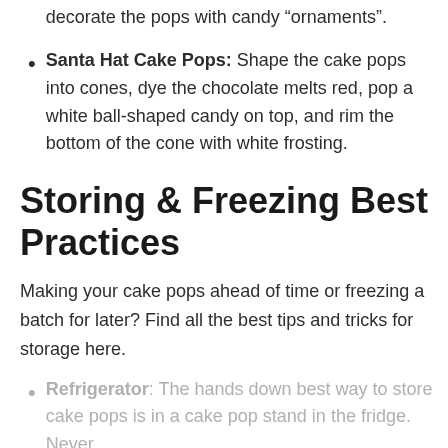decorate the pops with candy “ornaments”.
Santa Hat Cake Pops: Shape the cake pops into cones, dye the chocolate melts red, pop a white ball-shaped candy on top, and rim the bottom of the cone with white frosting.
Storing & Freezing Best Practices
Making your cake pops ahead of time or freezing a batch for later? Find all the best tips and tricks for storage here.
Refrigerator: The hands down best way to store cake pops is in a cake pop stand in the fridge. Never